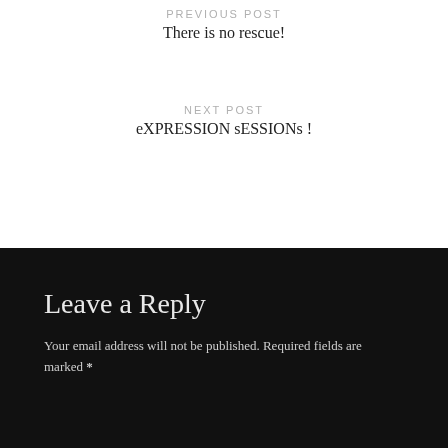PREVIOUS POST
There is no rescue!
NEXT POST
eXPRESSION sESSIONs !
Leave a Reply
Your email address will not be published. Required fields are marked *